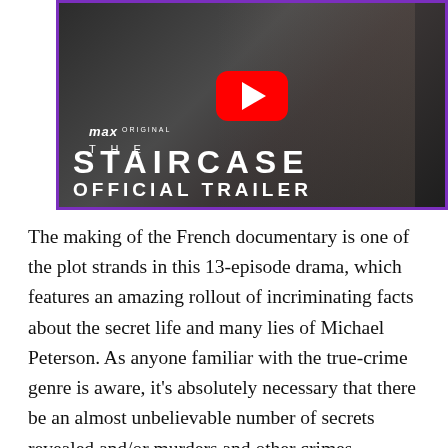[Figure (screenshot): YouTube thumbnail for 'The Staircase Official Trailer' on Max Original, showing an older man with glasses and a red YouTube play button overlay.]
The making of the French documentary is one of the plot strands in this 13-episode drama, which features an amazing rollout of incriminating facts about the secret life and many lies of Michael Peterson. As anyone familiar with the true-crime genre is aware, it's absolutely necessary that there be an almost unbelievable number of secrets revealed and/or murders and other crimes committed, to the point that your mind reels contemplating them. It also helps if there's corruption or incompetence or both at every level of the police investigation and the workings of the